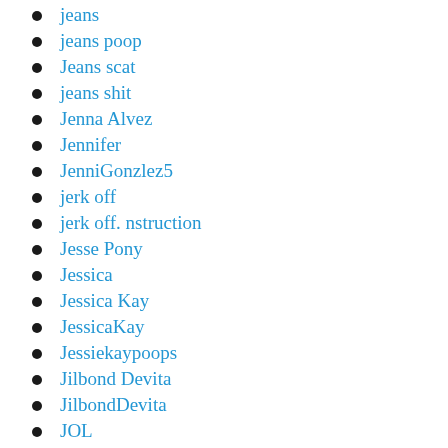jeans
jeans poop
Jeans scat
jeans shit
Jenna Alvez
Jennifer
JenniGonzlez5
jerk off
jerk off. nstruction
Jesse Pony
Jessica
Jessica Kay
JessicaKay
Jessiekaypoops
Jilbond Devita
JilbondDevita
JOL